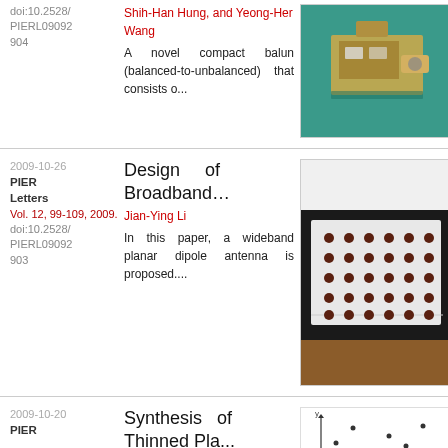doi:10.2528/PIERL09092904
Shih-Han Hung, and Yeong-Her Wang
A novel compact balun (balanced-to-unbalanced) that consists o...
[Figure (photo): Photo of a compact balun device on a teal/green surface]
2009-10-26  PIER Letters  Vol. 12, 99-109, 2009.  doi:10.2528/PIERL09092903
Design of Broadband…
Jian-Ying Li
In this paper, a wideband planar dipole antenna is proposed....
[Figure (photo): Photo of a wideband planar dipole antenna array on a white board]
2009-10-20  PIER
Synthesis of Thinned Pla...
[Figure (engineering-diagram): Engineering diagram of a thinned planar array]